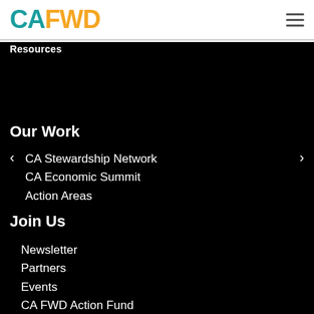CAFWD
Resources
Our Work
CA Stewardship Network
CA Economic Summit
Action Areas
Join Us
Newsletter
Partners
Events
CA FWD Action Fund